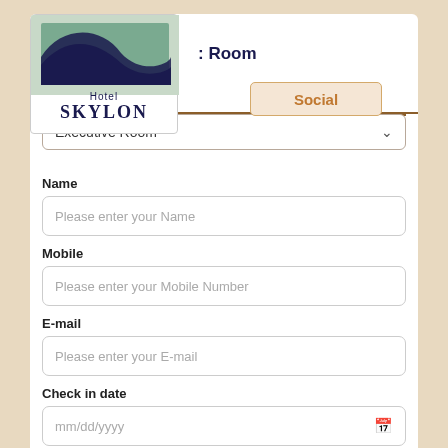[Figure (logo): Hotel Skylon logo with teal/navy wave graphic and text 'Hotel SKYLON']
Social
Room
Executive Room
Name
Please enter your Name
Mobile
Please enter your Mobile Number
E-mail
Please enter your E-mail
Check in date
mm/dd/yyyy
Duration of Stay